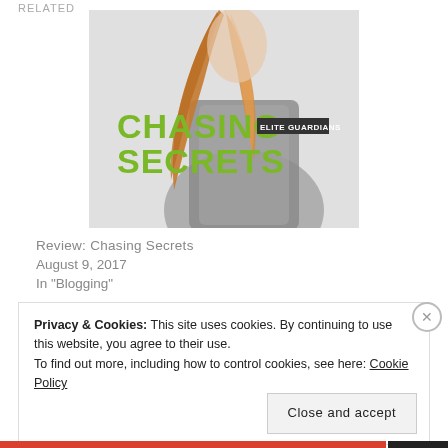RELATED
[Figure (photo): Book cover for 'Chasing Secrets' (Elite Guardians series) showing a woman with long red hair wearing a grey jacket, with green text reading 'CHASING SECRETS' and a small label 'ELITE GUARDIANS']
Review: Chasing Secrets
August 9, 2017
In "Blogging"
Privacy & Cookies: This site uses cookies. By continuing to use this website, you agree to their use.
To find out more, including how to control cookies, see here: Cookie Policy
Close and accept